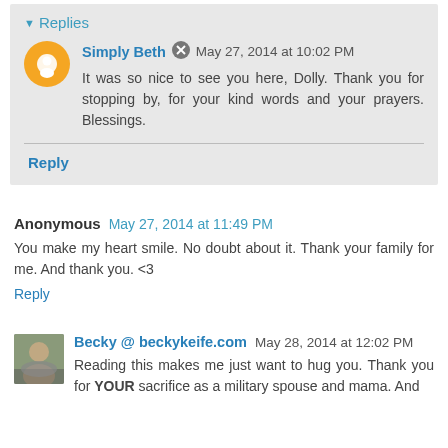Replies
Simply Beth   May 27, 2014 at 10:02 PM
It was so nice to see you here, Dolly. Thank you for stopping by, for your kind words and your prayers. Blessings.
Reply
Anonymous   May 27, 2014 at 11:49 PM
You make my heart smile. No doubt about it. Thank your family for me. And thank you. <3
Reply
Becky @ beckykeife.com   May 28, 2014 at 12:02 PM
Reading this makes me just want to hug you. Thank you for YOUR sacrifice as a military spouse and mama. And